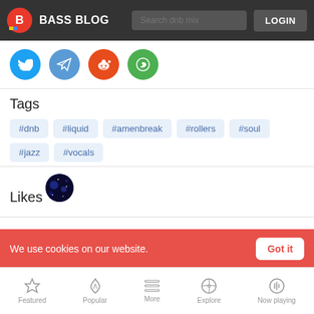BASS BLOG | Search dnb mix | LOGIN
[Figure (other): Social sharing icons: Twitter (blue), Telegram (light blue), Reddit (orange-red), WhatsApp (green)]
Tags
#dnb
#liquid
#amenbreak
#rollers
#soul
#jazz
#vocals
Likes
[Figure (other): User avatar circle with dark blue galaxy-like image]
We use cookies on our website.
Featured | Popular | More | Explore | Now playing